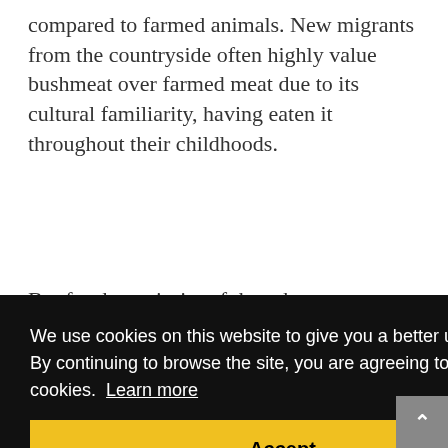compared to farmed animals. New migrants from the countryside often highly value bushmeat over farmed meat due to its cultural familiarity, having eaten it throughout their childhoods.
But for the majority of the urban poor however, as Nasi points out in another new paper, Empty forests, empty stomachs? Bushmeat and livelihoods in
We use cookies on this website to give you a better user experience. By continuing to browse the site, you are agreeing to our use of cookies.  Learn more
Accept
enforcement, hunting for bushmeat is increasing